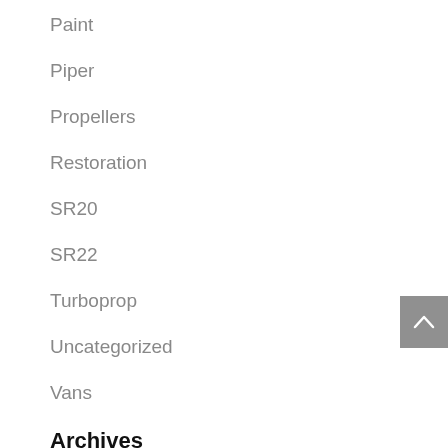Paint
Piper
Propellers
Restoration
SR20
SR22
Turboprop
Uncategorized
Vans
Archives
March 2020